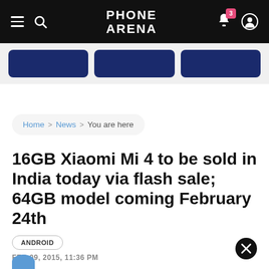PhoneArena — Navigation header with hamburger, search, logo, bell notification (3), user icon
[Figure (screenshot): Carousel of three dark blue card thumbnails]
Home > News > You are here
16GB Xiaomi Mi 4 to be sold in India today via flash sale; 64GB model coming February 24th
ANDROID
FEB 09, 2015, 11:36 PM